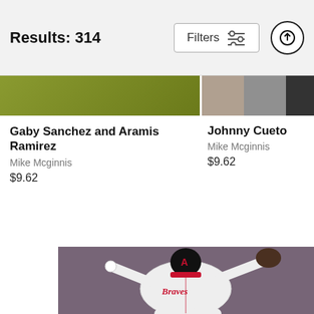Results: 314
[Figure (screenshot): Filters button with sliders icon and upload/share button]
[Figure (photo): Partial thumbnail image strip showing two sports photos]
Gaby Sanchez and Aramis Ramirez
Mike Mcginnis
$9.62
Johnny Cueto
Mike Mcginnis
$9.62
[Figure (photo): Atlanta Braves pitcher in white uniform winding up to throw a pitch, with crowd in background]